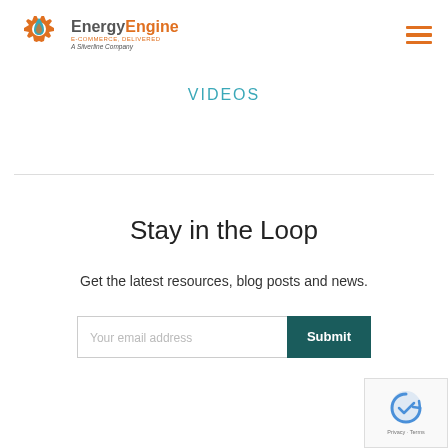[Figure (logo): EnergyEngine logo — gear/flame icon in orange and teal, with text 'EnergyEngine E-COMMERCE, DELIVERED A Silverline Company']
[Figure (other): Hamburger menu icon — three orange horizontal lines]
Videos
Stay in the Loop
Get the latest resources, blog posts and news.
[Figure (other): Email signup form with placeholder 'Your email address' and a dark teal Submit button]
[Figure (other): reCAPTCHA badge with Privacy - Terms text]